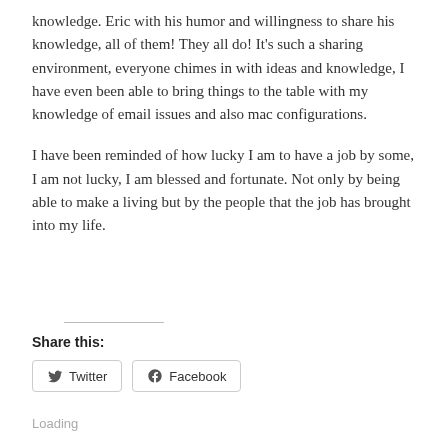knowledge. Eric with his humor and willingness to share his knowledge, all of them! They all do! It's such a sharing environment, everyone chimes in with ideas and knowledge, I have even been able to bring things to the table with my knowledge of email issues and also mac configurations.
I have been reminded of how lucky I am to have a job by some, I am not lucky, I am blessed and fortunate. Not only by being able to make a living but by the people that the job has brought into my life.
Share this:
Twitter  Facebook
Loading